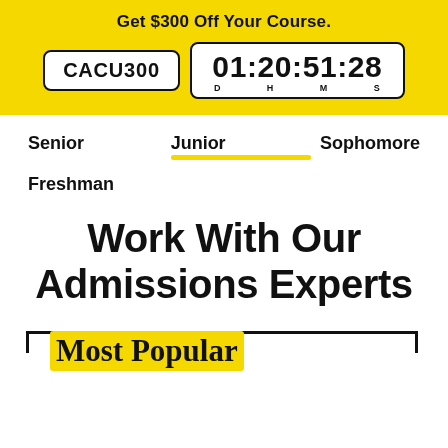Get $300 Off Your Course.
CACU300  01:20:51:28  D H M S
Senior
Junior
Sophomore
Freshman
Work With Our Admissions Experts
Most Popular